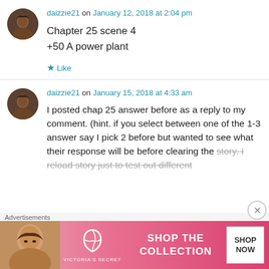daizzie21 on January 12, 2018 at 2:04 pm
Chapter 25 scene 4
+50 A power plant
Like
daizzie21 on January 15, 2018 at 4:33 am
I posted chap 25 answer before as a reply to my comment. (hint. if you select between one of the 1-3 answer say I pick 2 before but wanted to see what their response will be before clearing the story. I reload story just to test out different
Advertisements